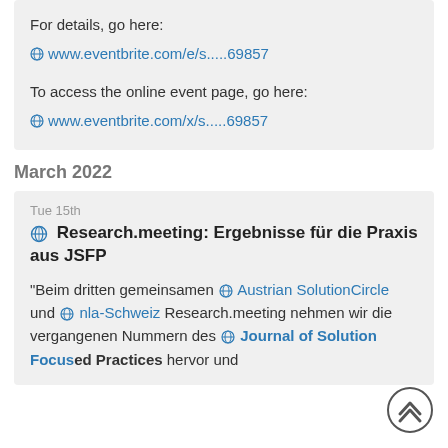For details, go here:
www.eventbrite.com/e/s.....69857
To access the online event page, go here:
www.eventbrite.com/x/s.....69857
March 2022
Tue 15th
Research.meeting: Ergebnisse für die Praxis aus JSFP
"Beim dritten gemeinsamen  Austrian SolutionCircle und  nla-Schweiz Research.meeting nehmen wir die vergangenen Nummern des  Journal of Solution Focused Practices hervor und